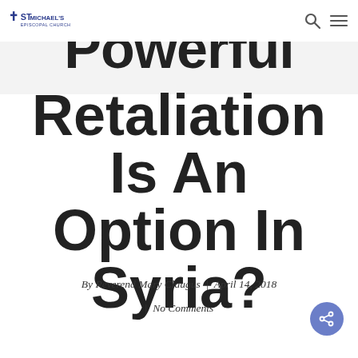St Michael's Episcopal Church
Powerful Retaliation Is An Option In Syria?
By Reverend Mary Claugus | April 14, 2018
| No Comments